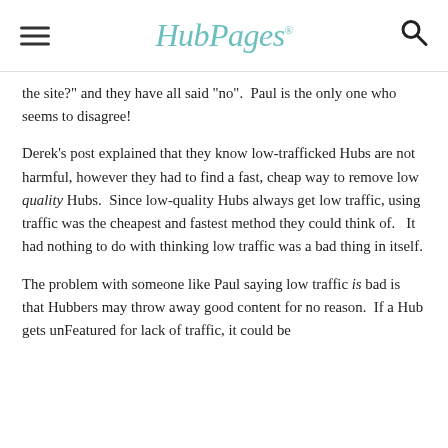HubPages
the site?" and they have all said "no".  Paul is the only one who seems to disagree!
Derek's post explained that they know low-trafficked Hubs are not harmful, however they had to find a fast, cheap way to remove low quality Hubs.  Since low-quality Hubs always get low traffic, using traffic was the cheapest and fastest method they could think of.   It had nothing to do with thinking low traffic was a bad thing in itself.
The problem with someone like Paul saying low traffic is bad is that Hubbers may throw away good content for no reason.  If a Hub gets unFeatured for lack of traffic, it could be